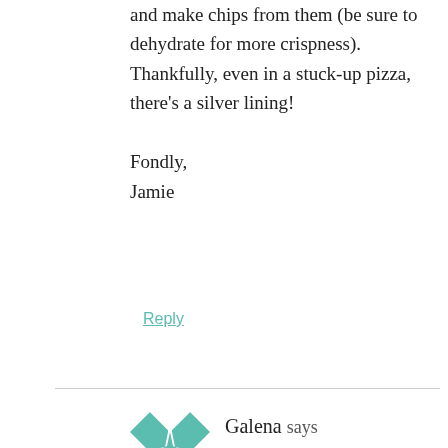and make chips from them (be sure to dehydrate for more crispness). Thankfully, even in a stuck-up pizza, there's a silver lining!

Fondly,
Jamie
Reply
Galena says
August 21, 2011 at 10:00 am
Thank you. This was wonderful. Even the 3yr old loved it.